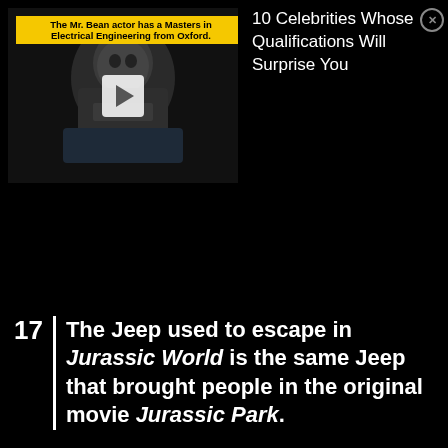[Figure (screenshot): Video thumbnail showing the Mr. Bean actor (Rowan Atkinson) with a yellow banner overlay reading 'The Mr. Bean actor has a Masters in Electrical Engineering from Oxford.' A white play button is centered on the thumbnail.]
10 Celebrities Whose Qualifications Will Surprise You
17 | The Jeep used to escape in Jurassic World is the same Jeep that brought people in the original movie Jurassic Park.